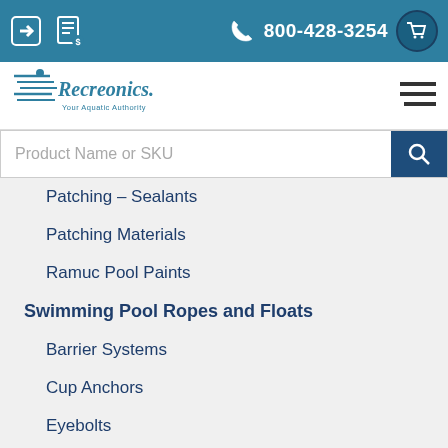800-428-3254
[Figure (logo): Recreonics logo - Your Aquatic Authority]
Product Name or SKU
Patching – Sealants
Patching Materials
Ramuc Pool Paints
Swimming Pool Ropes and Floats
Barrier Systems
Cup Anchors
Eyebolts
Pool Rope
Rope Hooks
Rope Line Floats
Roping Accessories
Water Testing